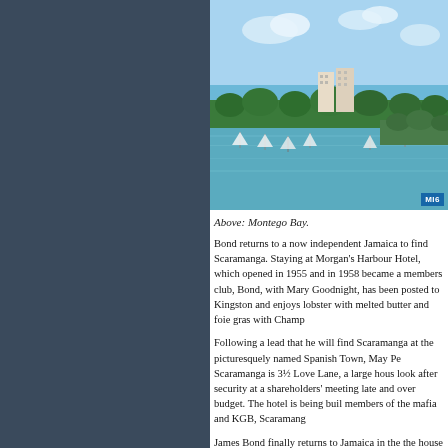[Figure (photo): Aerial photograph of Montego Bay, Jamaica, showing a marina with sailboats, lush green vegetation, tall hotel buildings along the coast, and blue sea under a partly cloudy sky. MI6 badge in bottom right corner.]
Above: Montego Bay.
Bond returns to a now independent Jamaica to find Scaramanga. Staying at Morgan's Harbour Hotel, which opened in 1955 and in 1958 became a members club, Bond, with Mary Goodnight, has been posted to Kingston and enjoys lobster with melted butter and foie gras with Champagne.
Following a lead that he will find Scaramanga at the picturesquely named Spanish Town, May Pen and Savanna-la-Mar, Scaramanga is 3½ Love Lane, a large house near Kingston. To look after security at a shareholders' meeting of a hotel running late and over budget. The hotel is being built with money from members of the mafia and KGB, Scaramanga is hired.
James Bond finally returns to Jamaica in the book visiting the house of an ex-secret service man. We are not told who, but the man who is now perpetually drunk,